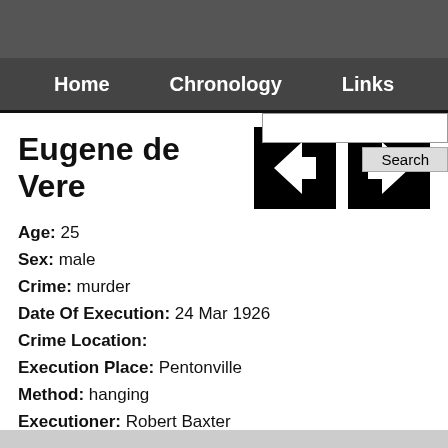Home   Chronology   Links
Eugene de Vere
Age: 25
Sex: male
Crime: murder
Date Of Execution: 24 Mar 1926
Crime Location:
Execution Place: Pentonville
Method: hanging
Executioner: Robert Baxter
Source: http://www.capitalpunishmentuk.org/